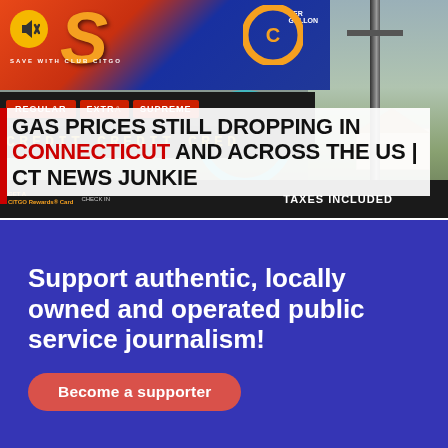[Figure (photo): Photo of a Citgo gas station sign showing REGULAR, EXTRA, SUPREME grade buttons and LED price display reading CREDIT CREDIT CREDIT, with TAXES INCLUDED text on the bottom bar. A circular teal ring overlay is visible. A utility pole and house visible in right background.]
GAS PRICES STILL DROPPING IN CONNECTICUT AND ACROSS THE US | CT NEWS JUNKIE
Support authentic, locally owned and operated public service journalism!
Become a supporter